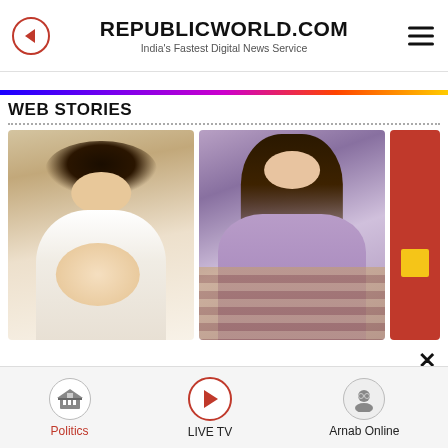REPUBLICWORLD.COM
India's Fastest Digital News Service
WEB STORIES
[Figure (photo): Web Stories section with three story cards: first showing a pregnant woman in white outfit (Sonam), second showing a young woman in purple off-shoulder gown on stairs, third a partially visible red card]
Politics | LIVE TV | Arnab Online